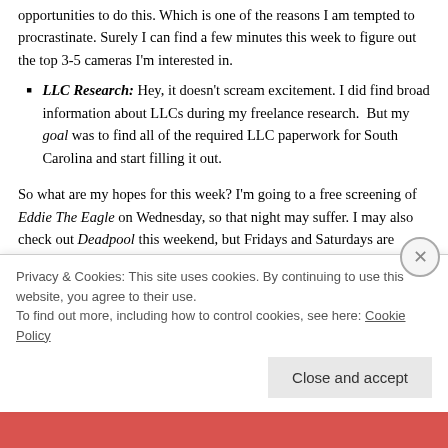opportunities to do this. Which is one of the reasons I am tempted to procrastinate. Surely I can find a few minutes this week to figure out the top 3-5 cameras I'm interested in.
LLC Research: Hey, it doesn't scream excitement. I did find broad information about LLCs during my freelance research.  But my goal was to find all of the required LLC paperwork for South Carolina and start filling it out.
So what are my hopes for this week? I'm going to a free screening of Eddie The Eagle on Wednesday, so that night may suffer. I may also check out Deadpool this weekend, but Fridays and Saturdays are pretty low duty. I am 1000 words ahead on Saturn, so I will use that free hour for something.
Privacy & Cookies: This site uses cookies. By continuing to use this website, you agree to their use.
To find out more, including how to control cookies, see here: Cookie Policy